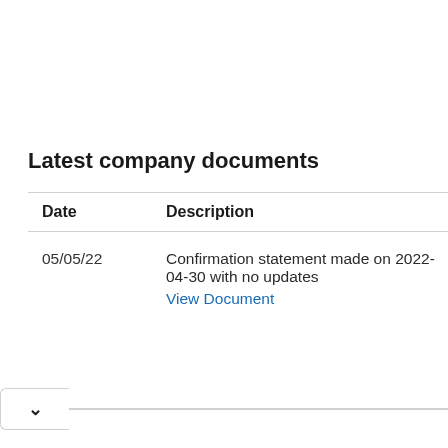Latest company documents
| Date | Description |
| --- | --- |
| 05/05/22 | Confirmation statement made on 2022-04-30 with no updates
View Document |